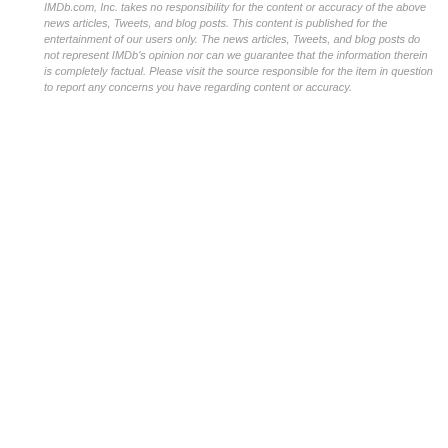IMDb.com, Inc. takes no responsibility for the content or accuracy of the above news articles, Tweets, and blog posts. This content is published for the entertainment of our users only. The news articles, Tweets, and blog posts do not represent IMDb's opinion nor can we guarantee that the information therein is completely factual. Please visit the source responsible for the item in question to report any concerns you have regarding content or accuracy.